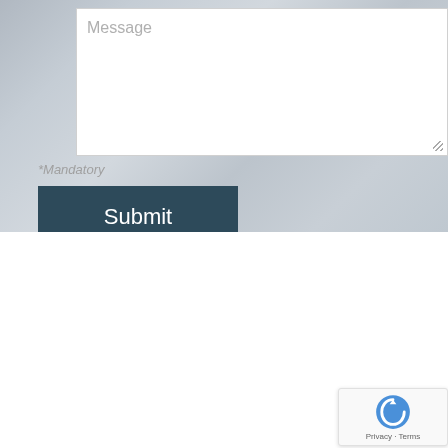[Figure (screenshot): Message textarea input box with placeholder text 'Message' on a blurred gray building background]
*Mandatory
Submit
Access
The office building is located right on the Danu bank. It is a historic, yet modern building with